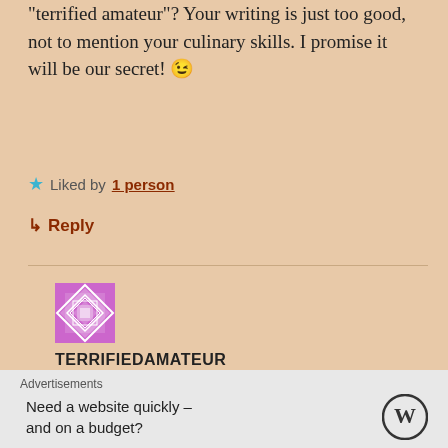“terrified amateur”? Your writing is just too good, not to mention your culinary skills. I promise it will be our secret! 😉
★ Liked by 1 person
→ Reply
TERRIFIEDAMATEUR
March 20, 2022 at 5:12 pm
Well, JoAnn, have you ever heard of...Bill Shakespeare?
Advertisements
Need a website quickly – and on a budget?